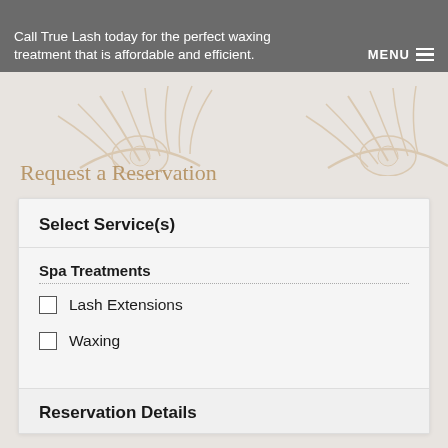Call True Lash today for the perfect waxing treatment that is affordable and efficient.
Request a Reservation
Select Service(s)
Spa Treatments
Lash Extensions
Waxing
Reservation Details